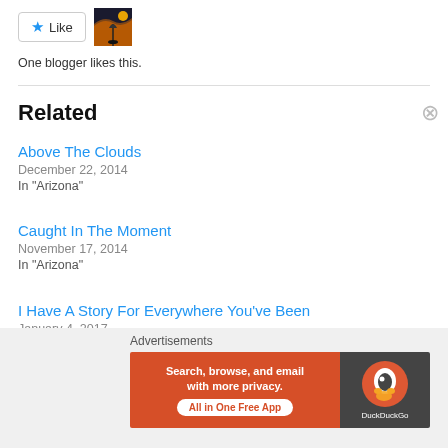[Figure (other): Like button with star icon and blogger avatar thumbnail]
One blogger likes this.
Related
Above The Clouds
December 22, 2014
In "Arizona"
Caught In The Moment
November 17, 2014
In "Arizona"
I Have A Story For Everywhere You've Been
January 4, 2017
In "Arizona"
Advertisements
[Figure (infographic): DuckDuckGo advertisement banner: Search, browse, and email with more privacy. All in One Free App]